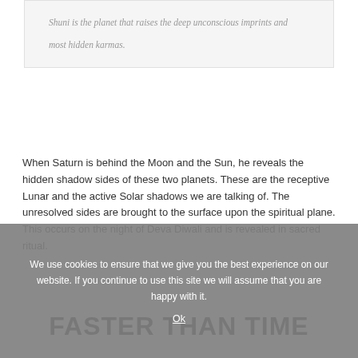Shuni is the planet that raises the deep unconscious imprints and most hidden karmas.
When Saturn is behind the Moon and the Sun, he reveals the hidden shadow sides of these two planets. These are the receptive Lunar and the active Solar shadows we are talking of. The unresolved sides are brought to the surface upon the spiritual plane. This occurs on the night of Deva Diwali and is revealed in sacred ritual.
FASTER THAN TIME
We use cookies to ensure that we give you the best experience on our website. If you continue to use this site we will assume that you are happy with it.
Ok